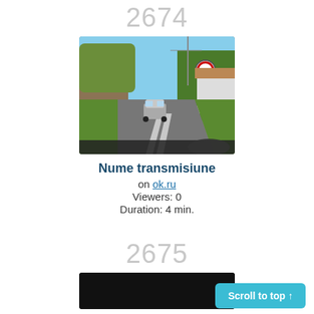2674
[Figure (photo): Dashcam view from a car driving on a rural road, with a vehicle ahead and green trees and a road sign visible.]
Nume transmisiune
on ok.ru
Viewers: 0
Duration: 4 min.
2675
[Figure (photo): Partially visible dark/black thumbnail image at the bottom of the page.]
Scroll to top ↑